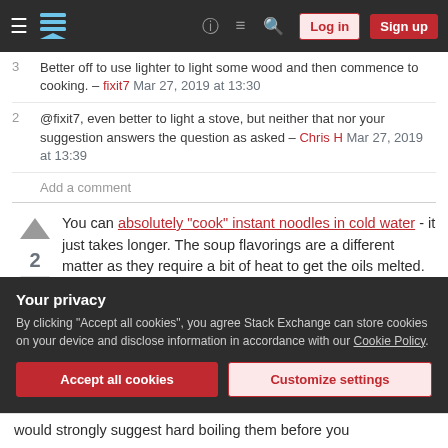Stack Exchange navigation bar with Log in and Sign up buttons
3 Better off to use lighter to light some wood and then commence to cooking. – fixit7 Mar 27, 2019 at 13:30
2 @fixit7, even better to light a stove, but neither that nor your suggestion answers the question as asked – Chris H Mar 27, 2019 at 13:39
Add a comment
You can absolutely "cook" instant noodles in cold water - it just takes longer. The soup flavorings are a different matter as they require a bit of heat to get the oils melted. Having never tried this, I can't say
Your privacy
By clicking "Accept all cookies", you agree Stack Exchange can store cookies on your device and disclose information in accordance with our Cookie Policy.
Accept all cookies   Customize settings
would strongly suggest hard boiling them before you